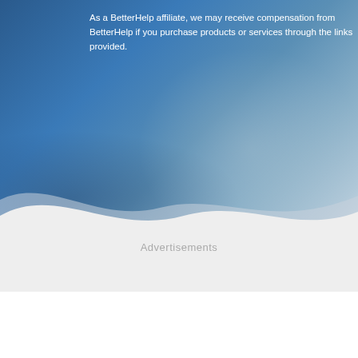[Figure (photo): Blue-toned photo background showing a person in a therapeutic or counseling setting, with a wave-shaped decorative divider overlaid at the bottom transitioning to a light gray section.]
As a BetterHelp affiliate, we may receive compensation from BetterHelp if you purchase products or services through the links provided.
Advertisements